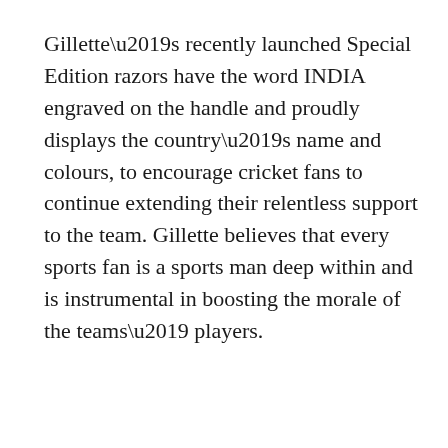Gillette’s recently launched Special Edition razors have the word INDIA engraved on the handle and proudly displays the country’s name and colours, to encourage cricket fans to continue extending their relentless support to the team. Gillette believes that every sports fan is a sports man deep within and is instrumental in boosting the morale of the teams’ players.